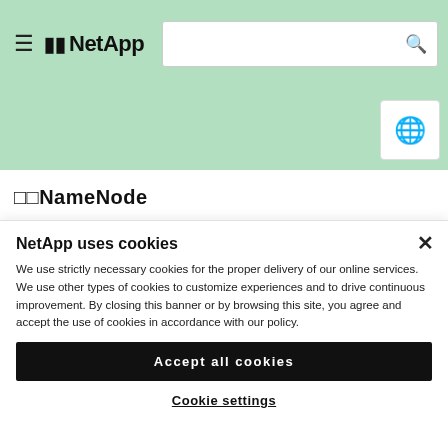☰ NetApp [search bar] [globe icon]
□□NameNode
□□□□□NameNode□□□□□Jolokia API□□□□□□□<Hadoop□□□
NetApp uses cookies
We use strictly necessary cookies for the proper delivery of our online services. We use other types of cookies to customize experiences and to drive continuous improvement. By closing this banner or by browsing this site, you agree and accept the use of cookies in accordance with our policy.
Accept all cookies
Cookie settings